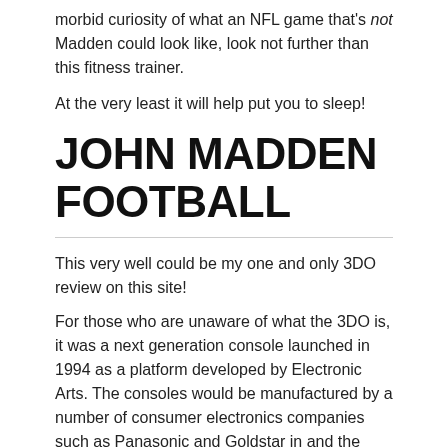morbid curiosity of what an NFL game that's not Madden could look like, look not further than this fitness trainer.
At the very least it will help put you to sleep!
JOHN MADDEN FOOTBALL
This very well could be my one and only 3DO review on this site!
For those who are unaware of what the 3DO is, it was a next generation console launched in 1994 as a platform developed by Electronic Arts. The consoles would be manufactured by a number of consumer electronics companies such as Panasonic and Goldstar in and others see VCR (at the time.)